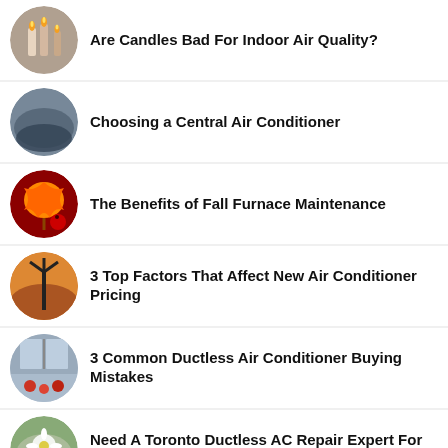Are Candles Bad For Indoor Air Quality?
Choosing a Central Air Conditioner
The Benefits of Fall Furnace Maintenance
3 Top Factors That Affect New Air Conditioner Pricing
3 Common Ductless Air Conditioner Buying Mistakes
Need A Toronto Ductless AC Repair Expert For Spring Maintenace?